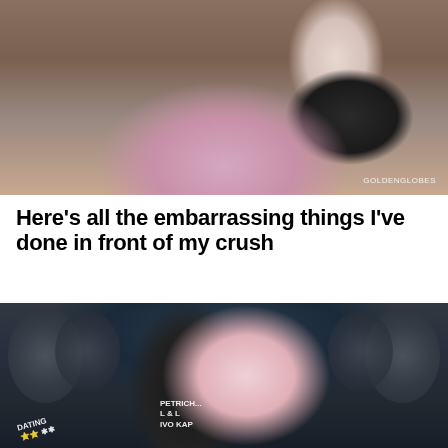[Figure (photo): A woman in a pink lace dress at the Golden Globes ceremony, with GOLDENGLOBES watermark in bottom right]
Here's all the embarrassing things I've done in front of my crush
Emily Kemp
Emily Kemp shares her most embarrassing date stories for our pleasure
[Figure (photo): Two women posing in front of a car with writing on it including PETRICH, IVO, and other graffiti text. One woman has pink hair and the other wears a crown.]